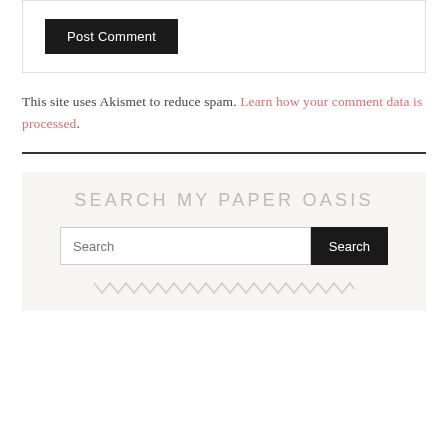Post Comment
This site uses Akismet to reduce spam. Learn how your comment data is processed.
SEARCH MY PAPER OASIS
Search